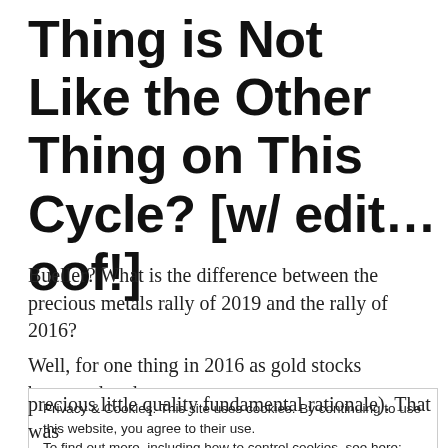Thing is Not Like the Other Thing on This Cycle? [w/ edit... oof!]
Bueller? What is the difference between the precious metals rally of 2019 and the rally of 2016?
Well, for one thing in 2016 as gold stocks bottomed and
Privacy & Cookies: This site uses cookies. By continuing to use this website, you agree to their use. To find out more, including how to control cookies, see here: Cookie Policy
Close and accept
precious little quality fundamental rationale). That was